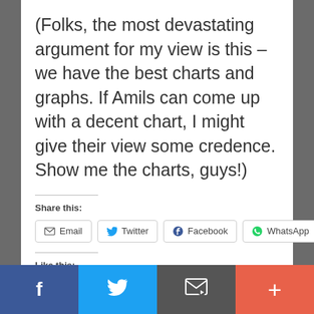(Folks, the most devastating argument for my view is this – we have the best charts and graphs. If Amils can come up with a decent chart, I might give their view some credence. Show me the charts, guys!)
Share this:
Email  Twitter  Facebook  WhatsApp
Like this:
Loading...